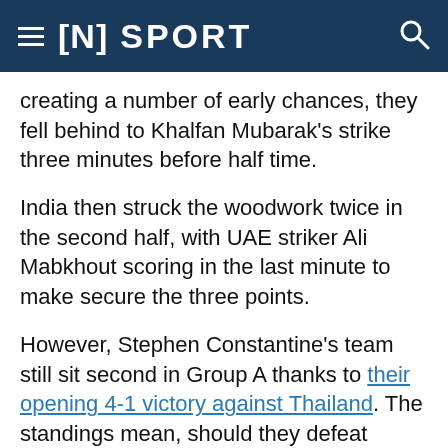[N] SPORT
creating a number of early chances, they fell behind to Khalfan Mubarak's strike three minutes before half time.
India then struck the woodwork twice in the second half, with UAE striker Ali Mabkhout scoring in the last minute to make secure the three points.
However, Stephen Constantine's team still sit second in Group A thanks to their opening 4-1 victory against Thailand. The standings mean, should they defeat Bahrain on Monday, they will be guaranteed progression to the last 16.